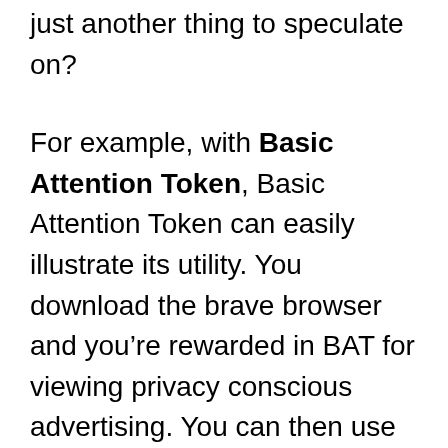just another thing to speculate on?
For example, with Basic Attention Token, Basic Attention Token can easily illustrate its utility. You download the brave browser and you’re rewarded in BAT for viewing privacy conscious advertising. You can then use that BAT to contribute to your favorite content creator.
The second question I like to ask is what is the supply?
Bitcoin is deflationary. There’s 21 million Bitcoin that will ever exist according to the protocol and Bitcoin supplies unique to itself. Other cryptocurrencies distribute coins in different